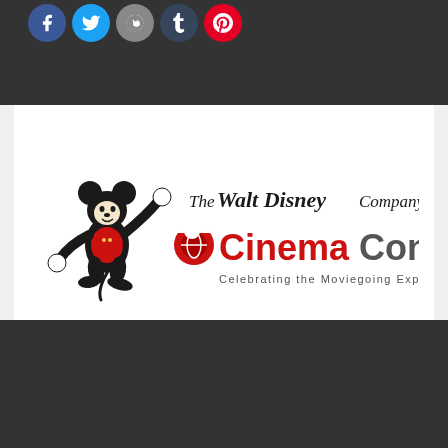[Figure (other): Social media share buttons: Facebook (blue), Twitter (blue), Reddit (gray), Tumblr (dark blue), Pinterest (red) as circular icons on dark background]
[Figure (logo): The Walt Disney Company logo combined with CinemaCon logo. Mickey Mouse cartoon figure on left, 'The Walt Disney Company' in script/serif text, large red 'CinemaCon' stylized text with globe icon, and tagline 'Celebrating the Moviegoing Experience' on white background]